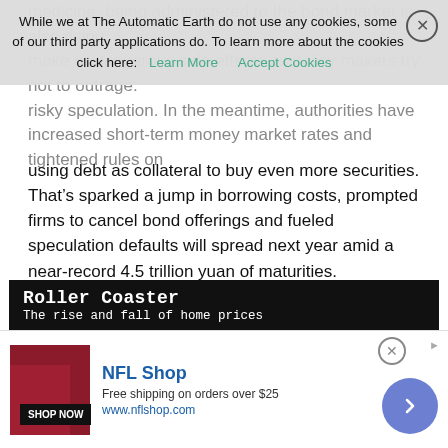medicine, being administered to the bond market is also rising. make or dangerous side effects as policy makers try not to outrage: risky speculation. In the meantime, authorities have increased short-term money market rates and tightened rules on
using debt as collateral to buy even more securities. That’s sparked a jump in borrowing costs, prompted firms to cancel bond offerings and fueled speculation defaults will spread next year amid a near-record 4.5 trillion yuan of maturities. Christopher Balding, an associate professor at Peking University in Shenzhen, cites the risk of increased credit growth for mortgages and real estate. Longer-term household loans increased by 569.2 billion yuan last month, accounting for more than two thirds of total new yuan loans. That was just shy of the 571.3 billion yuan record in September. The growth pace is likely to moderate, though “that isn’t saying a lot,” Balding said. “They absolutely cannot have any significant drop in prices without risking real social instability.”
Roller Coaster
The rise and fall of home prices
[Figure (other): NFL Shop advertisement banner with logo, free shipping tagline, shop now button, and circular CTA arrow button]